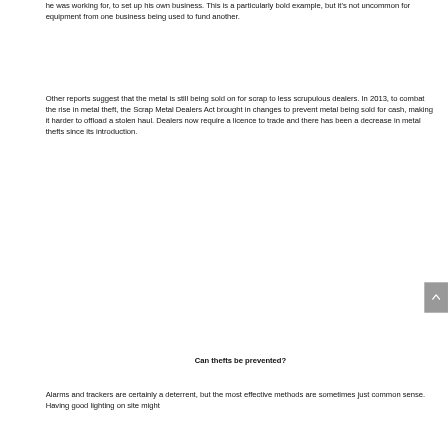he was working for, to set up his own business. This is a particularly bold example, but it's not uncommon for equipment from one business being used to fund another.
Other reports suggest that the metal is still being sold on for scrap to less scrupulous dealers. In 2013, to combat the rise in metal theft, the Scrap Metal Dealers Act brought in changes to prevent metal being sold for cash, making it harder to offload a stolen haul. Dealers now require a licence to trade and there has been a decrease in metal thefts since its introduction.
Can thefts be prevented?
Alarms and trackers are certainly a deterrent, but the most effective methods are sometimes just common sense. Having good lighting on site might